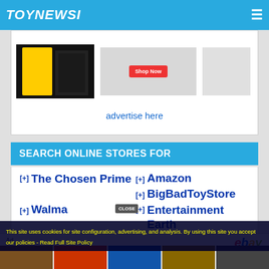TOYNEWSI
[Figure (screenshot): Partial ad banner with toy/action figure image on left and 'Shop Now' red button on white background on right, with 'advertise here' link below]
SEARCH ONLINE STORES FOR
[+] Amazon
[+] BigBadToyStore
[+] Entertainment Earth
[+] The Chosen Prime
[+] Walmart
[+] Ebay Auctions
[Figure (screenshot): eBay advertisement banner with toy product images and eBay logo, with 'Ad' label]
This site uses cookies for site configuration, advertising, and analysis. By using this site you accept our policies - Read Full Site Policy